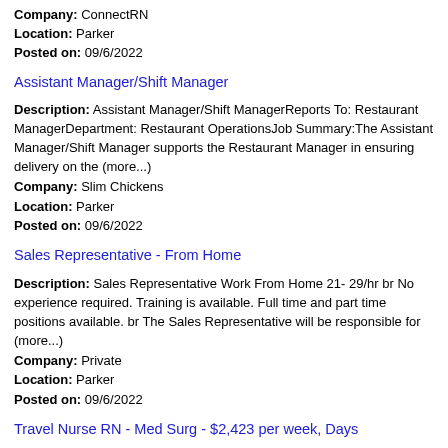Company: ConnectRN
Location: Parker
Posted on: 09/6/2022
Assistant Manager/Shift Manager
Description: Assistant Manager/Shift ManagerReports To: Restaurant ManagerDepartment: Restaurant OperationsJob Summary:The Assistant Manager/Shift Manager supports the Restaurant Manager in ensuring delivery on the (more...)
Company: Slim Chickens
Location: Parker
Posted on: 09/6/2022
Sales Representative - From Home
Description: Sales Representative Work From Home 21- 29/hr br No experience required. Training is available. Full time and part time positions available. br The Sales Representative will be responsible for (more...)
Company: Private
Location: Parker
Posted on: 09/6/2022
Travel Nurse RN - Med Surg - $2,423 per week, Days
Description: Stability Health services hiring top class RN Med...